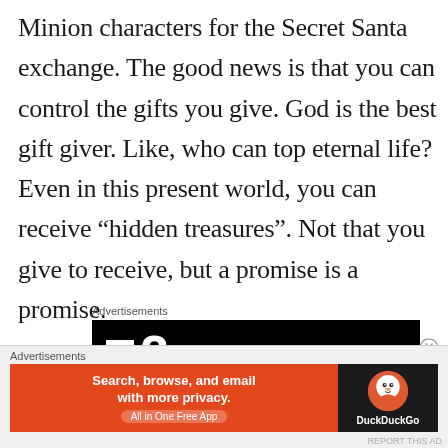Minion characters for the Secret Santa exchange. The good news is that you can control the gifts you give. God is the best gift giver. Like, who can top eternal life? Even in this present world, you can receive “hidden treasures”. Not that you give to receive, but a promise is a promise.
[Figure (other): Advertisement banner: black background with white square and large number 2, labeled 'Advertisements' above]
[Figure (other): DuckDuckGo advertisement banner: orange section with 'Search, browse, and email with more privacy. All in One Free App' and dark section with DuckDuckGo logo]